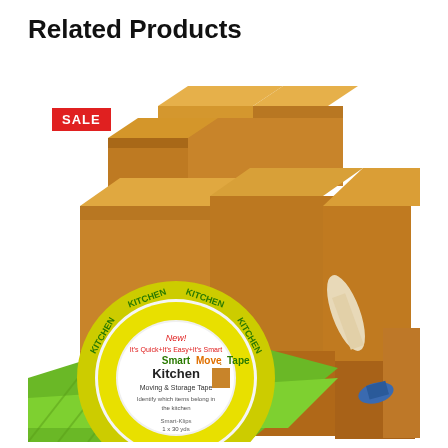Related Products
[Figure (photo): Product photo showing a stack of brown cardboard moving boxes with a roll of brown packing paper, a tape dispenser, and a green-background SmartMove Tape Kitchen Moving & Storage Tape product in the foreground. A red SALE badge is visible in the upper left corner.]